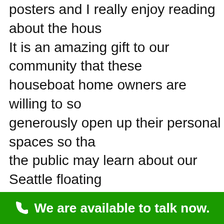posters and I really enjoy reading about the hous... It is an amazing gift to our community that these houseboat home owners are willing to so generously open up their personal spaces so that the public may learn about our Seattle floating community. None of these homes are for sale and this is not a real estate agent's promotional tour. These are coveted homes that are on display for a limited time during the tour.

Just got word that we are still also looking for volunteers. Here is the message on the latest
We are available to talk now.